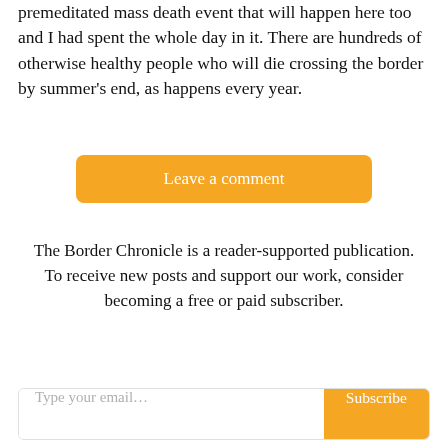premeditated mass death event that will happen here too and I had spent the whole day in it. There are hundreds of otherwise healthy people who will die crossing the border by summer's end, as happens every year.
Leave a comment
The Border Chronicle is a reader-supported publication. To receive new posts and support our work, consider becoming a free or paid subscriber.
Type your email...
Subscribe